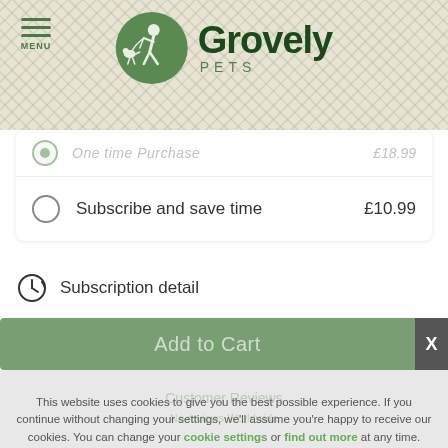[Figure (logo): Grovely Pets logo with green circle icon showing person walking dog, bold dark green text 'Grovely' and subtitle 'PETS']
One time Purchase £18.99
Subscribe and save time £10.99
Subscription detail
Add to Cart
This website uses cookies to give you the best possible experience. If you continue without changing your settings, we'll assume you're happy to receive our cookies. You can change your cookie settings or find out more at any time.